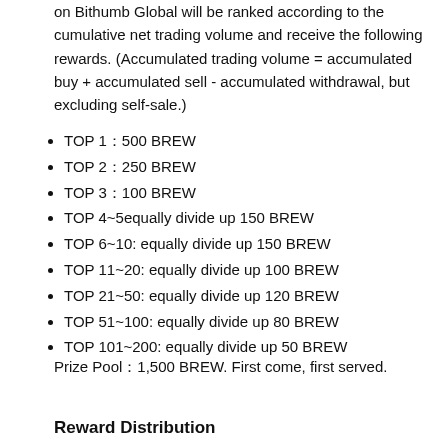on Bithumb Global will be ranked according to the cumulative net trading volume and receive the following rewards. (Accumulated trading volume = accumulated buy + accumulated sell - accumulated withdrawal, but excluding self-sale.)
TOP 1：500 BREW
TOP 2：250 BREW
TOP 3：100 BREW
TOP 4~5equally divide up 150 BREW
TOP 6~10: equally divide up 150 BREW
TOP 11~20: equally divide up 100 BREW
TOP 21~50: equally divide up 120 BREW
TOP 51~100: equally divide up 80 BREW
TOP 101~200: equally divide up 50 BREW
Prize Pool：1,500 BREW. First come, first served.
Reward Distribution